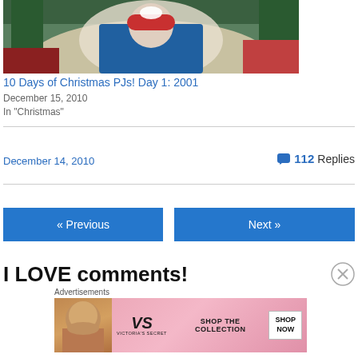[Figure (photo): Christmas photo showing a child with Santa Claus and Christmas tree decorations in background]
10 Days of Christmas PJs! Day 1: 2001
December 15, 2010
In "Christmas"
December 14, 2010
112 Replies
« Previous
Next »
I LOVE comments!
Advertisements
[Figure (photo): Victoria's Secret advertisement banner with model, VS logo, 'SHOP THE COLLECTION' text, and 'SHOP NOW' button]